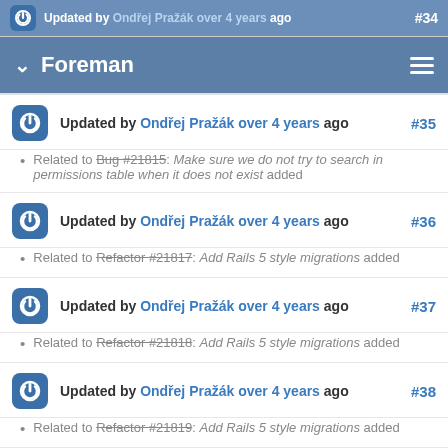Updated by Ondřej Pražák over 4 years ago #34
Foreman
Updated by Ondřej Pražák over 4 years ago #35
Related to Bug #21815: Make sure we do not try to search in permissions table when it does not exist added
Updated by Ondřej Pražák over 4 years ago #36
Related to Refactor #21817: Add Rails 5 style migrations added
Updated by Ondřej Pražák over 4 years ago #37
Related to Refactor #21818: Add Rails 5 style migrations added
Updated by Ondřej Pražák over 4 years ago #38
Related to Refactor #21819: Add Rails 5 style migrations added
Updated by Ondřej Pražák over 4 years ago #39